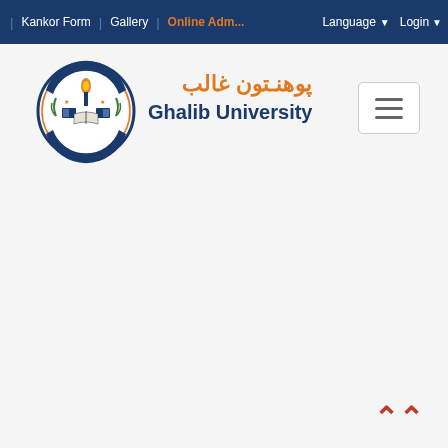| Kankor Form | Gallery | Online Adm... Language ▼ Login ▼
[Figure (logo): Ghalib University circular logo with torch, books, and Arabic text]
پوهنـتون غالب
Ghalib University